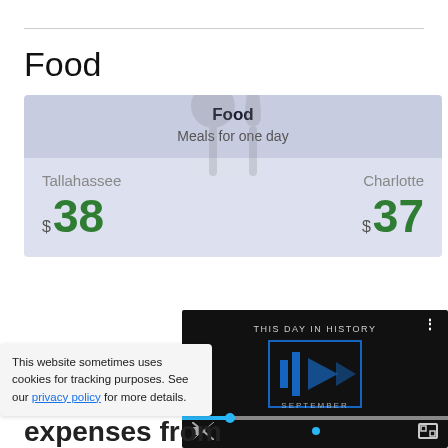Food
|  | Tallahassee | Charlotte |
| --- | --- | --- |
| Food / Meals for one day | $38 | $37 |
[Figure (screenshot): Video thumbnail showing 'THIS DAY IN HISTORY' with play button and blue progress bar controls]
This website sometimes uses cookies for tracking purposes. See our privacy policy for more details.
expenses from Di...